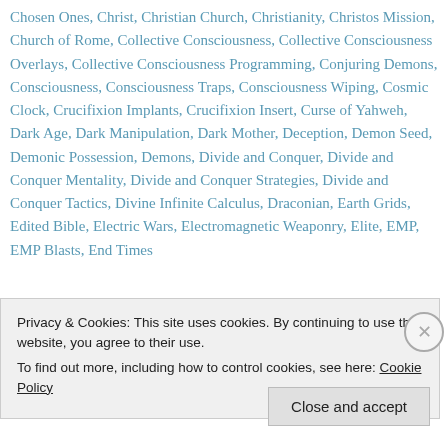Chosen Ones, Christ, Christian Church, Christianity, Christos Mission, Church of Rome, Collective Consciousness, Collective Consciousness Overlays, Collective Consciousness Programming, Conjuring Demons, Consciousness, Consciousness Traps, Consciousness Wiping, Cosmic Clock, Crucifixion Implants, Crucifixion Insert, Curse of Yahweh, Dark Age, Dark Manipulation, Dark Mother, Deception, Demon Seed, Demonic Possession, Demons, Divide and Conquer, Divide and Conquer Mentality, Divide and Conquer Strategies, Divide and Conquer Tactics, Divine Infinite Calculus, Draconian, Earth Grids, Edited Bible, Electric Wars, Electromagnetic Weaponry, Elite, EMP, EMP Blasts, End Times
Privacy & Cookies: This site uses cookies. By continuing to use this website, you agree to their use. To find out more, including how to control cookies, see here: Cookie Policy
Close and accept